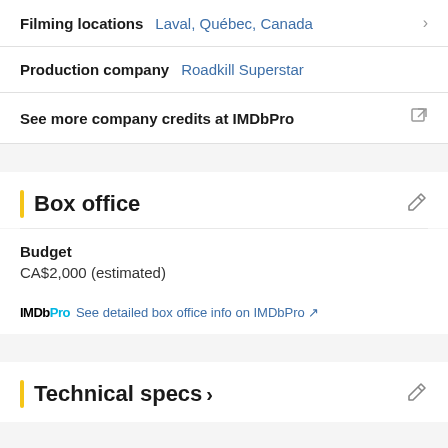Filming locations: Laval, Québec, Canada
Production company: Roadkill Superstar
See more company credits at IMDbPro
Box office
Budget
CA$2,000 (estimated)
IMDbPro See detailed box office info on IMDbPro
Technical specs